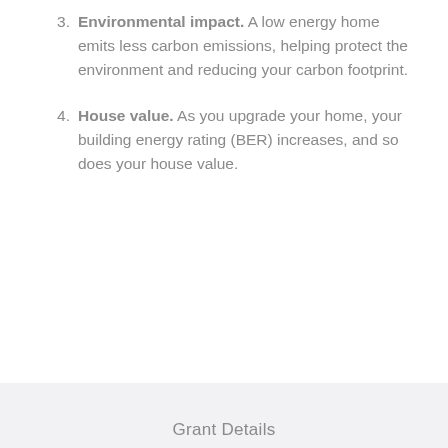3. Environmental impact. A low energy home emits less carbon emissions, helping protect the environment and reducing your carbon footprint.
4. House value. As you upgrade your home, your building energy rating (BER) increases, and so does your house value.
Grant Details